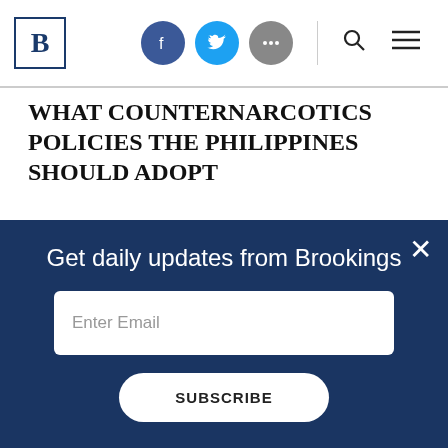B [Brookings logo] [Facebook icon] [Twitter icon] [More icon] [Search] [Menu]
WHAT COUNTERNARCOTICS POLICIES THE PHILIPPINES SHOULD ADOPT
The Philippines should adopt radically different approaches: The shoot-to-kill directives to police and calls for extrajudicial killings should stop immediately, as should dragnets against low-level
Get daily updates from Brookings
Enter Email
SUBSCRIBE